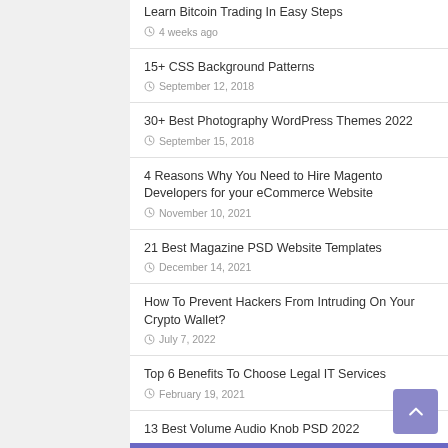Learn Bitcoin Trading In Easy Steps
4 weeks ago
15+ CSS Background Patterns
September 12, 2018
30+ Best Photography WordPress Themes 2022
September 15, 2018
4 Reasons Why You Need to Hire Magento Developers for your eCommerce Website
November 10, 2021
21 Best Magazine PSD Website Templates
December 14, 2021
How To Prevent Hackers From Intruding On Your Crypto Wallet?
July 7, 2022
Top 6 Benefits To Choose Legal IT Services
February 19, 2021
13 Best Volume Audio Knob PSD 2022
September 19, 2018